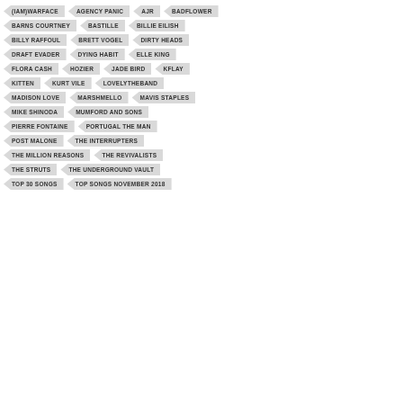(IAM)WARFACE
AGENCY PANIC
AJR
BADFLOWER
BARNS COURTNEY
BASTILLE
BILLIE EILISH
BILLY RAFFOUL
BRETT VOGEL
DIRTY HEADS
DRAFT EVADER
DYING HABIT
ELLE KING
FLORA CASH
HOZIER
JADE BIRD
KFLAY
KITTEN
KURT VILE
LOVELYTHEBAND
MADISON LOVE
MARSHMELLO
MAVIS STAPLES
MIKE SHINODA
MUMFORD AND SONS
PIERRE FONTAINE
PORTUGAL THE MAN
POST MALONE
THE INTERRUPTERS
THE MILLION REASONS
THE REVIVALISTS
THE STRUTS
THE UNDERGROUND VAULT
TOP 30 SONGS
TOP SONGS NOVEMBER 2018